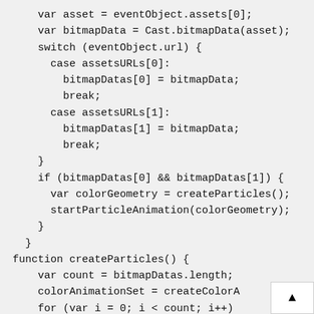var asset = eventObject.assets[0];
    var bitmapData = Cast.bitmapData(asset);
    switch (eventObject.url) {
      case assetsURLs[0]:
        bitmapDatas[0] = bitmapData;
        break;
      case assetsURLs[1]:
        bitmapDatas[1] = bitmapData;
        break;
    }
    if (bitmapDatas[0] && bitmapDatas[1]) {
      var colorGeometry = createParticles();
      startParticleAnimation(colorGeometry);
    }
  }
function createParticles() {
    var count = bitmapDatas.length;
    colorAnimationSet = createColorAnimation
    for (var i = 0; i < count; i++)